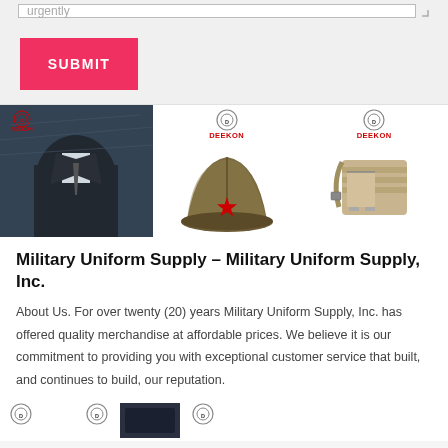urgently
SUBMIT
[Figure (photo): Military uniform jacket on fabric background with DEEKON logo]
[Figure (photo): DEEKON military garrison cap with red star]
[Figure (photo): DEEKON tactical shoulder bag in tan/khaki]
Military Uniform Supply – Military Uniform Supply, Inc.
About Us. For over twenty (20) years Military Uniform Supply, Inc. has offered quality merchandise at affordable prices. We believe it is our commitment to providing you with exceptional customer service that built, and continues to build, our reputation.
[Figure (logo): DEEKON logo badge bottom row first]
[Figure (logo): DEEKON logo badge bottom row second]
[Figure (photo): Dark fabric product photo bottom row]
[Figure (logo): DEEKON logo badge bottom row third]